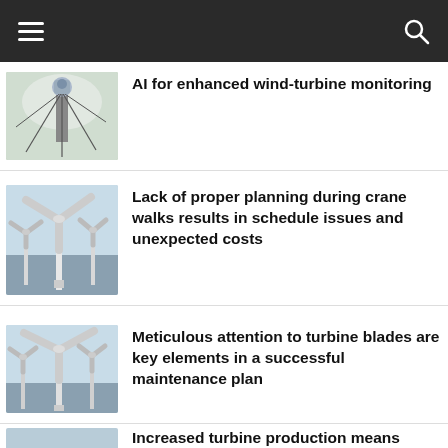AI for enhanced wind-turbine monitoring
Lack of proper planning during crane walks results in schedule issues and unexpected costs
Meticulous attention to turbine blades are key elements in a successful maintenance plan
Increased turbine production means increased transportation and logistics equipment